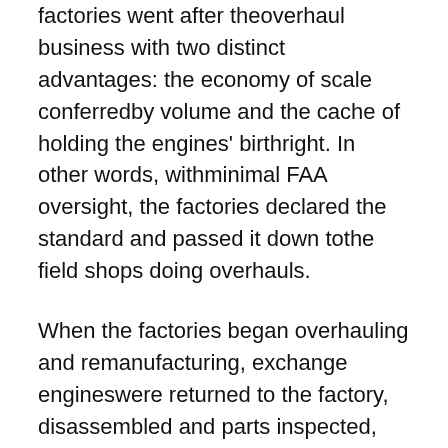factories went after theoverhaul business with two distinct advantages: the economy of scale conferredby volume and the cache of holding the engines' birthright. In other words, withminimal FAA oversight, the factories declared the standard and passed it down tothe field shops doing overhauls.
When the factories began overhauling and remanufacturing, exchange engineswere returned to the factory, disassembled and parts inspected, sorted and putinto bins of identical parts to be reassembled later. Similar parts were thensorted as being within OEM new specs, serviceable, or outright junk, which wasdiscarded. Because any future re-assembly into engines could actually besomewhat of a mix of used and new parts, the end result would bear littleresemblance to any specific run-out engine from whence the parts came.
Major components such as crankshafts, cases, gears and so